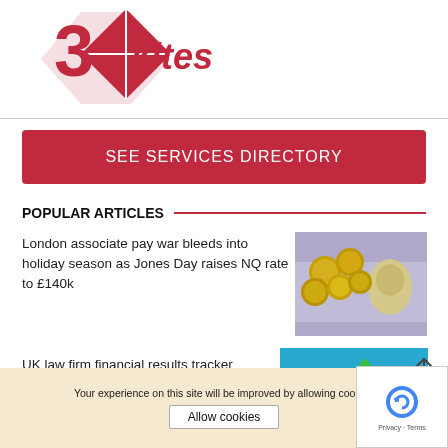[Figure (logo): 3Kites logo with red kite/arrow graphic and stylized text '3kites']
SEE SERVICES DIRECTORY
POPULAR ARTICLES
London associate pay war bleeds into holiday season as Jones Day raises NQ rate to £140k
[Figure (photo): Photo of British pound coins and banknotes]
UK law firm financial results tracker
[Figure (photo): Illustration of gold pound sterling symbol with green arrow pointing up on blue background]
Your experience on this site will be improved by allowing cookies